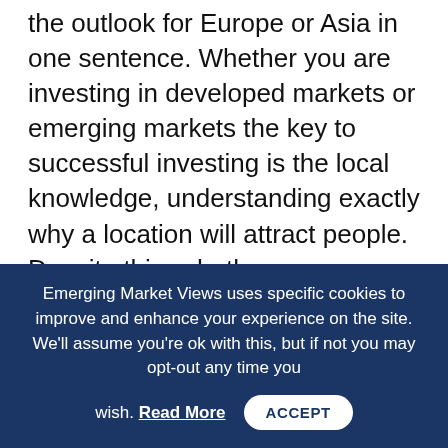the outlook for Europe or Asia in one sentence. Whether you are investing in developed markets or emerging markets the key to successful investing is the local knowledge, understanding exactly why a location will attract people.  Despite this, whether we are looking at investments in any region we are optimistic about 2017.  There are a number of markets which we are looking at where there is clearly more demand than supply.  This is crucial because this will allow us to increase the rents received and lead to a strong total return.  The key f...
Emerging Market Views uses specific cookies to improve and enhance your experience on the site. We'll assume you're ok with this, but if not you may opt-out any time you wish. Read More ACCEPT